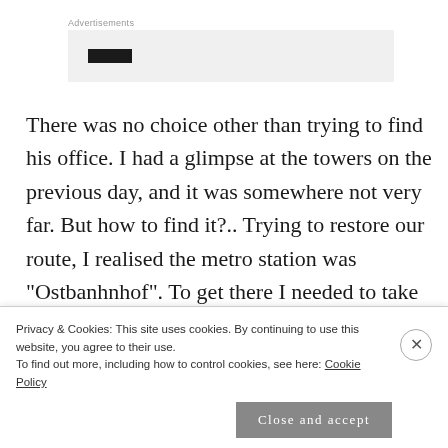Advertisements
[Figure (other): Advertisement placeholder box with a dark bar element inside a light gray background]
There was no choice other than trying to find his office. I had a glimpse at the towers on the previous day, and it was somewhere not very far. But how to find it?.. Trying to restore our route, I realised the metro station was "Ostbanhnhof". To get there I needed to take two trams, then from the station
Privacy & Cookies: This site uses cookies. By continuing to use this website, you agree to their use.
To find out more, including how to control cookies, see here: Cookie Policy
Close and accept